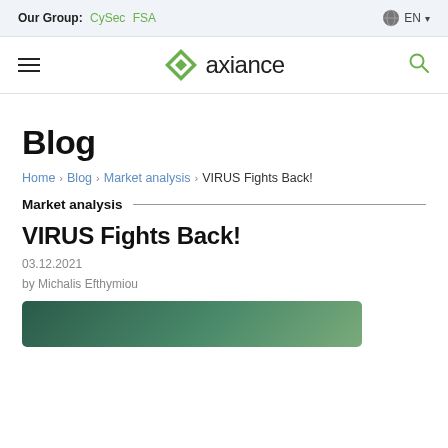Our Group: CySec FSA | EN
[Figure (logo): Axiance logo with green diamond shape and wordmark 'axiance']
Blog
Home > Blog > Market analysis > VIRUS Fights Back!
Market analysis
VIRUS Fights Back!
03.12.2021
by Michalis Efthymiou